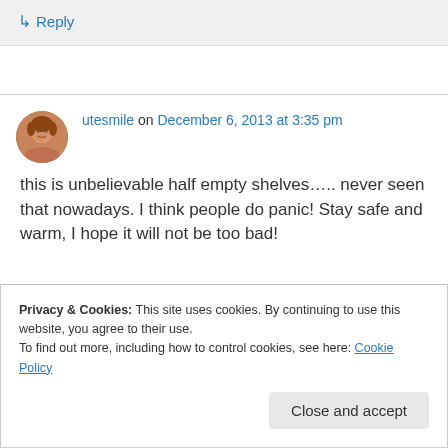↳ Reply
utesmile on December 6, 2013 at 3:35 pm
this is unbelievable half empty shelves….. never seen that nowadays. I think people do panic! Stay safe and warm, I hope it will not be too bad!
Privacy & Cookies: This site uses cookies. By continuing to use this website, you agree to their use.
To find out more, including how to control cookies, see here: Cookie Policy
Close and accept